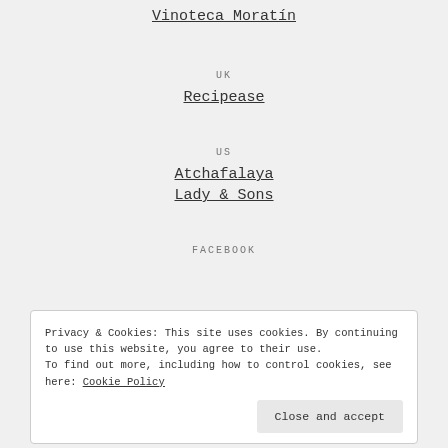Vinoteca Moratín
UK
Recipease
US
Atchafalaya
Lady & Sons
FACEBOOK
Privacy & Cookies: This site uses cookies. By continuing to use this website, you agree to their use. To find out more, including how to control cookies, see here: Cookie Policy
Close and accept